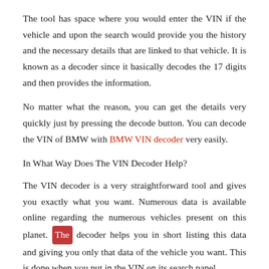The tool has space where you would enter the VIN if the vehicle and upon the search would provide you the history and the necessary details that are linked to that vehicle. It is known as a decoder since it basically decodes the 17 digits and then provides the information.
No matter what the reason, you can get the details very quickly just by pressing the decode button. You can decode the VIN of BMW with BMW VIN decoder very easily.
In What Way Does The VIN Decoder Help?
The VIN decoder is a very straightforward tool and gives you exactly what you want. Numerous data is available online regarding the numerous vehicles present on this planet. The decoder helps you in short listing this data and giving you only that data of the vehicle you want. This is done when you put in the VIN on its search panel.